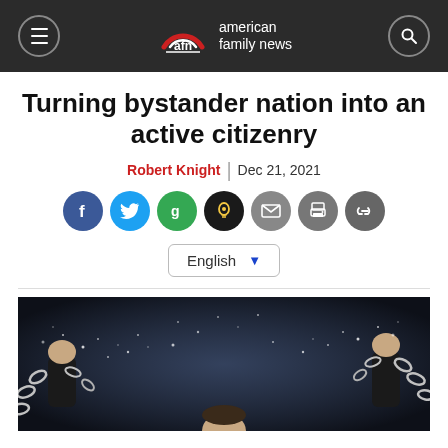american family news
Turning bystander nation into an active citizenry
Robert Knight | Dec 21, 2021
[Figure (other): Social sharing buttons: Facebook, Twitter, Google, Lighthouse/bulb, Email, Print, Link]
[Figure (other): Language selector dropdown showing English]
[Figure (photo): Person breaking chains with raised fists against dark sparkly background]